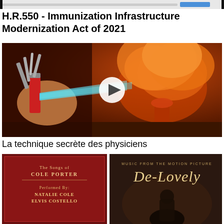[Figure (screenshot): Top banner/advertisement bar with dark background]
H.R.550 - Immunization Infrastructure Modernization Act of 2021
[Figure (photo): Video thumbnail showing a hand holding a Swiss Army knife emitting a cyan light beam toward a nuclear explosion mushroom cloud. A white circular play button is overlaid in the center.]
La technique secrète des physiciens
[Figure (photo): Bottom image showing two album covers side by side: left is a red album for Songs of Cole Porter performed by Natalie Cole and Elvis Costello; right is Music from the Motion Picture De-Lovely with a dark moody cover.]